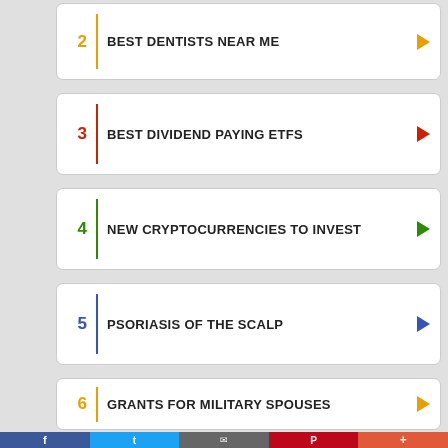2 BEST DENTISTS NEAR ME
3 BEST DIVIDEND PAYING ETFS
4 NEW CRYPTOCURRENCIES TO INVEST
5 PSORIASIS OF THE SCALP
6 GRANTS FOR MILITARY SPOUSES
[Figure (infographic): Social sharing bar with Facebook, Twitter, Email, Pinterest, and More buttons]